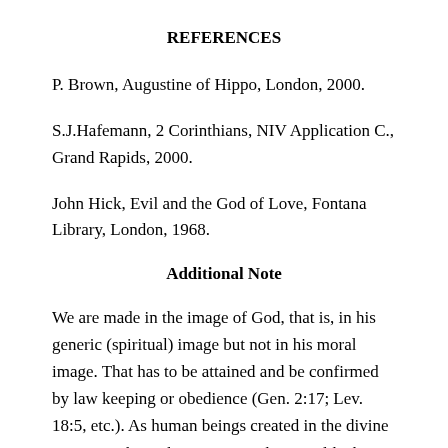REFERENCES
P. Brown, Augustine of Hippo, London, 2000.
S.J.Hafemann, 2 Corinthians, NIV Application C., Grand Rapids, 2000.
John Hick, Evil and the God of Love, Fontana Library, London, 1968.
Additional Note
We are made in the image of God, that is, in his generic (spiritual) image but not in his moral image. That has to be attained and be confirmed by law keeping or obedience (Gen. 2:17; Lev. 18:5, etc.). As human beings created in the divine image, we have the capacity to become like him morally by keeping